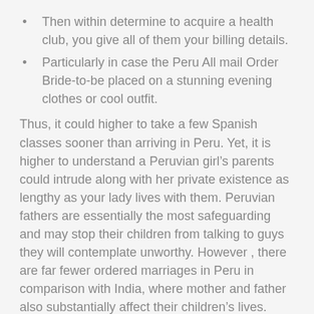Then within determine to acquire a health club, you give all of them your billing details.
Particularly in case the Peru All mail Order Bride-to-be placed on a stunning evening clothes or cool outfit.
Thus, it could higher to take a few Spanish classes sooner than arriving in Peru. Yet, it is higher to understand a Peruvian girl’s parents could intrude along with her private existence as lengthy as your lady lives with them. Peruvian fathers are essentially the most safeguarding and may stop their children from talking to guys they will contemplate unworthy. However , there are far fewer ordered marriages in Peru in comparison with India, where mother and father also substantially affect their children’s lives.